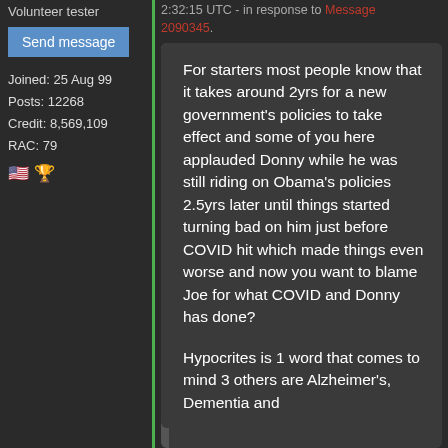Volunteer tester
Send message
Joined: 25 Aug 99
Posts: 12268
Credit: 8,569,109
RAC: 79
🇺🇸 🏆
2:32:15 UTC - in response to Message 2090345.
For starters most people know that it takes around 2yrs for a new government's policies to take effect and some of you here applauded Donny while he was still riding on Obama's policies 2.5yrs later until things started turning bad on him just before COVID hit which made things even worse and now you want to blame Joe for what COVID and Donny has done?
Hypocrites is 1 word that comes to mind 3 others are Alzheimer's, Dementia and